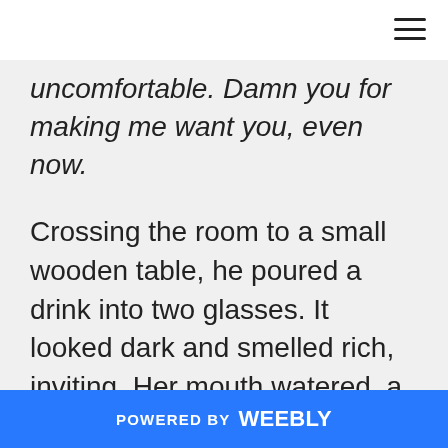[Figure (other): Hamburger menu icon (three horizontal lines) in top-right corner]
uncomfortable. Damn you for making me want you, even now.
Crossing the room to a small wooden table, he poured a drink into two glasses. It looked dark and smelled rich, inviting. Her mouth watered, a consuming sensation. He came back to stand beside the bed, shoving a glass at her.
She eyed it suspiciously. “What is it?”
POWERED BY weebly